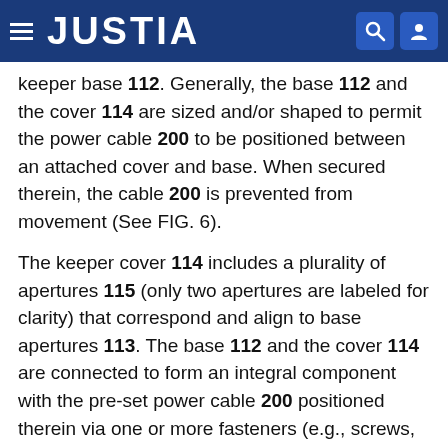JUSTIA
keeper base 112. Generally, the base 112 and the cover 114 are sized and/or shaped to permit the power cable 200 to be positioned between an attached cover and base. When secured therein, the cable 200 is prevented from movement (See FIG. 6).
The keeper cover 114 includes a plurality of apertures 115 (only two apertures are labeled for clarity) that correspond and align to base apertures 113. The base 112 and the cover 114 are connected to form an integral component with the pre-set power cable 200 positioned therein via one or more fasteners (e.g., screws, bolts and nuts) inserted through the apertures 113/115 (See FIG. 2, as an example of an assembled nut and bolt configuration). In the configuration shown in FIG. 5A, the base 112 includes the protrusion 116 that is sized and shaped to be received in the channel 122.